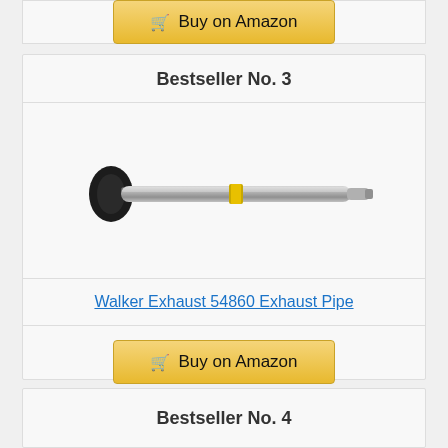[Figure (other): Buy on Amazon button at top of page (truncated from previous section)]
Bestseller No. 3
[Figure (photo): Walker Exhaust 54860 Exhaust Pipe product image - a long metal exhaust pipe with a black flange on one end and a yellow band in the middle]
Walker Exhaust 54860 Exhaust Pipe
[Figure (other): Buy on Amazon button]
Bestseller No. 4